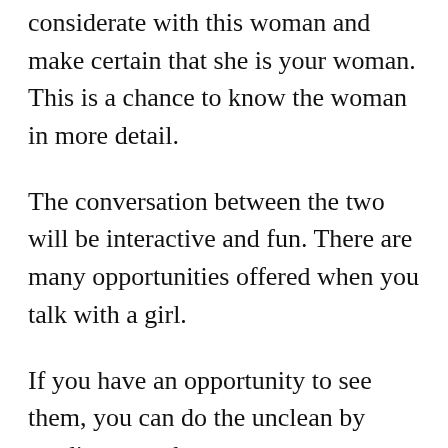considerate with this woman and make certain that she is your woman. This is a chance to know the woman in more detail.
The conversation between the two will be interactive and fun. There are many opportunities offered when you talk with a girl.
If you have an opportunity to see them, you can do the unclean by sending out a hot message.
You can take selfies with them if you want